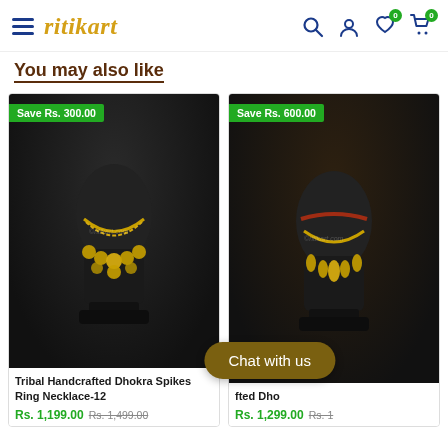ritikart — navigation header with hamburger menu, logo, search, account, wishlist (0), cart (0)
You may also like
[Figure (photo): Product card 1: Tribal Handcrafted Dhokra Spikes Ring Necklace-12 on black bust with gold coin necklace. Save Rs. 300.00 badge. Price Rs. 1,199.00. Original Rs. 1,499.00.]
[Figure (photo): Product card 2 (partially visible): Dhokra necklace product on black bust with gold teardrop elements. Save Rs. 600.00 badge. Price Rs. 1,299.00.]
Chat with us